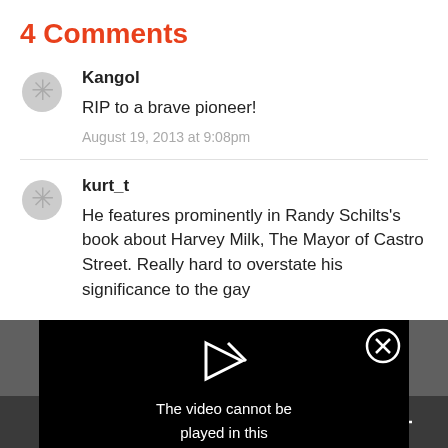4 Comments
Kangol
RIP to a brave pioneer!
August 19, 2013 at 9:08pm
kurt_t
He features prominently in Randy Schilts's book about Harvey Milk, The Mayor of Castro Street. Really hard to overstate his significance to the gay rights m... s out there protest... t illegal to serve... rancisco. And I d... offered up this triv... ctly in front
[Figure (screenshot): Video player overlay showing error message: The video cannot be played in this browser. (Error Code: 242632)]
Social sharing bar with Facebook, Twitter, Email, Pinterest, and Plus icons